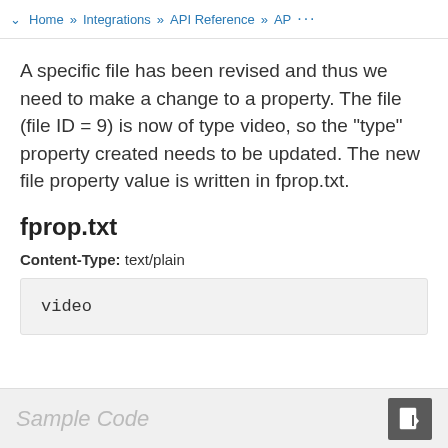Home » Integrations » API Reference » AP ...
A specific file has been revised and thus we need to make a change to a property. The file (file ID = 9) is now of type video, so the "type" property created needs to be updated. The new file property value is written in fprop.txt.
fprop.txt
Content-Type: text/plain
video
Sample Code